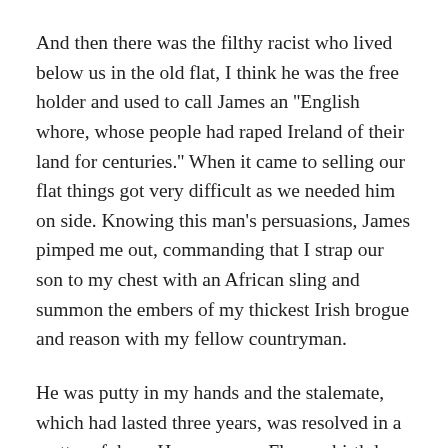And then there was the filthy racist who lived below us in the old flat, I think he was the free holder and used to call James an ''English whore, whose people had raped Ireland of their land for centuries.'' When it came to selling our flat things got very difficult as we needed him on side. Knowing this man's persuasions, James pimped me out, commanding that I strap our son to my chest with an African sling and summon the embers of my thickest Irish brogue and reason with my fellow countryman.
He was putty in my hands and the stalemate, which had lasted three years, was resolved in a matter of days. He even gave Flynn a birthday present that year and wrote me a poem in a card (of course political and by another fellow